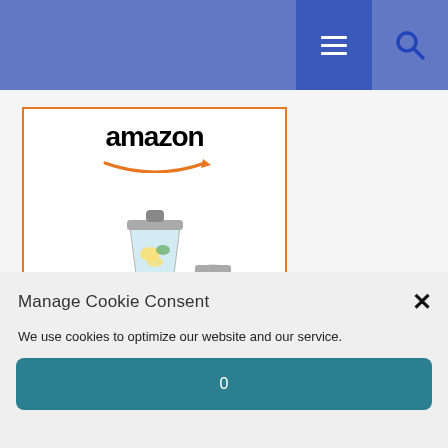Navigation bar with hamburger menu and search icon
[Figure (screenshot): Amazon product card showing Oster Blender Pro 1200 with price $129.99 and Prime badge, with Amazon logo and product image of blender set]
Oster Blender | Pro 1200 with...
$129.99 Prime
Manage Cookie Consent
We use cookies to optimize our website and our service.
0